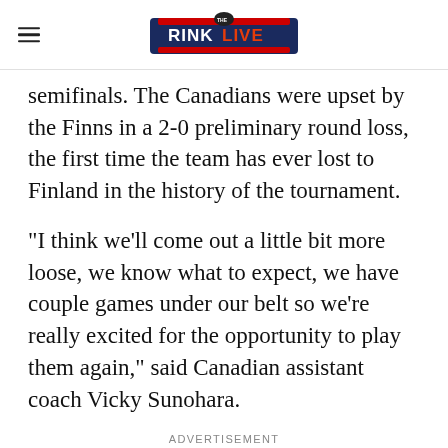The Rink Live
semifinals. The Canadians were upset by the Finns in a 2-0 preliminary round loss, the first time the team has ever lost to Finland in the history of the tournament.
"I think we'll come out a little bit more loose, we know what to expect, we have couple games under our belt so we're really excited for the opportunity to play them again," said Canadian assistant coach Vicky Sunohara.
ADVERTISEMENT